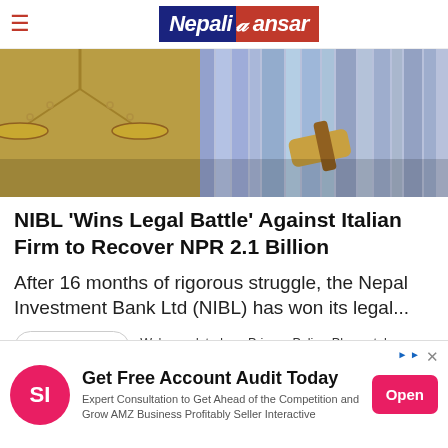Nepali Sansar
[Figure (photo): Legal themed photo showing scales of justice and a judge's gavel with law books in the background]
NIBL 'Wins Legal Battle' Against Italian Firm to Recover NPR 2.1 Billion
After 16 months of rigorous struggle, the Nepal Investment Bank Ltd (NIBL) has won its legal...
Read more
We've updated our Privacy Policy. Please take a moment to review those changes. By clicking I Agree, You Agree to Nepalisansar
[Figure (infographic): Advertisement banner: Get Free Account Audit Today. Expert Consultation to Get Ahead of the Competition and Grow AMZ Business Profitably Seller Interactive. Open button.]